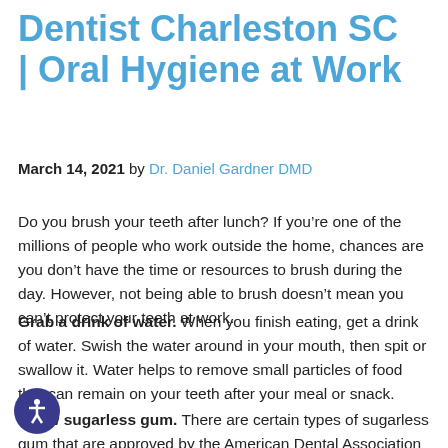Dentist Charleston SC | Oral Hygiene at Work
March 14, 2021 by Dr. Daniel Gardner DMD
Do you brush your teeth after lunch? If you’re one of the millions of people who work outside the home, chances are you don’t have the time or resources to brush during the day. However, not being able to brush doesn’t mean you can’t protect your teeth at work.
Grab a drink of water. When you finish eating, get a drink of water. Swish the water around in your mouth, then spit or swallow it. Water helps to remove small particles of food that can remain on your teeth after your meal or snack.
Chew sugarless gum. There are certain types of sugarless gum that are approved by the American Dental Association (ADA) as good for your oral health. The